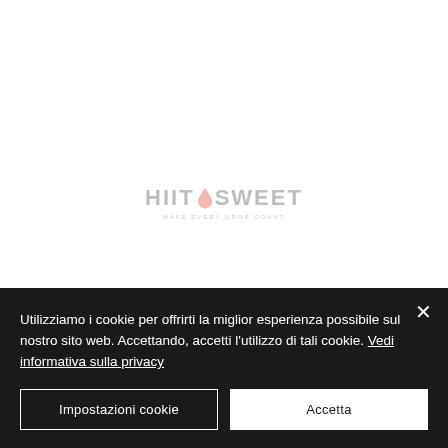[Figure (logo): HIIT Sweet logo with pink water drop icon and tagline text below, shown in grey/muted colors]
Utilizziamo i cookie per offrirti la miglior esperienza possibile sul nostro sito web. Accettando, accetti l'utilizzo di tali cookie. Vedi informativa sulla privacy
Impostazioni cookie
Accetta